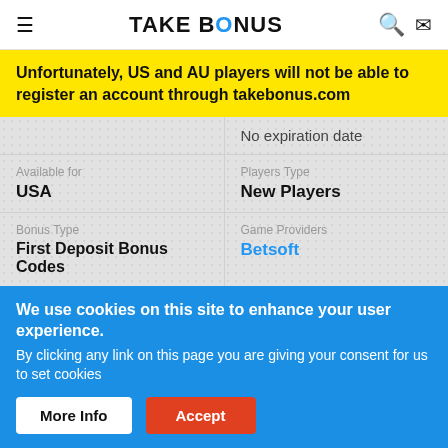TAKE BONUS
Unfortunately, US and AU players will not be able to register an account through takebonus.com
No expiration date
Available for
USA
Players Type
New Players
Bonus Type
First Deposit Bonus Codes
Game Providers
Betsoft
OS / Device
We use cookies on this site to enhance your user experience.
By clicking any link on this page you are giving your consent for us to set cookies